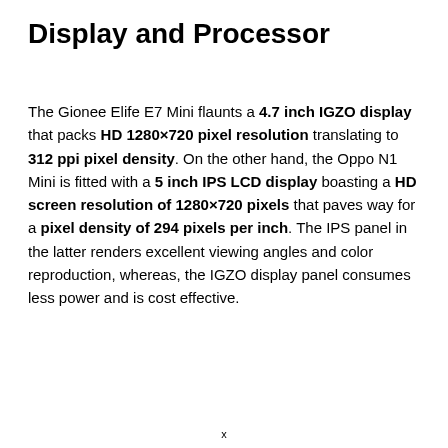Display and Processor
The Gionee Elife E7 Mini flaunts a 4.7 inch IGZO display that packs HD 1280×720 pixel resolution translating to 312 ppi pixel density. On the other hand, the Oppo N1 Mini is fitted with a 5 inch IPS LCD display boasting a HD screen resolution of 1280×720 pixels that paves way for a pixel density of 294 pixels per inch. The IPS panel in the latter renders excellent viewing angles and color reproduction, whereas, the IGZO display panel consumes less power and is cost effective.
x